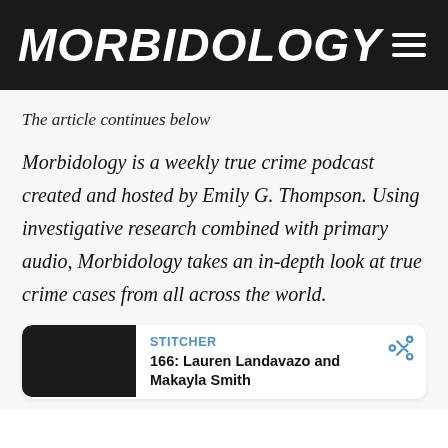MORBIDOLOGY
The article continues below
Morbidology is a weekly true crime podcast created and hosted by Emily G. Thompson. Using investigative research combined with primary audio, Morbidology takes an in-depth look at true crime cases from all across the world.
[Figure (screenshot): Podcast card showing a dark thumbnail image on the left, with STITCHER label and episode title '166: Lauren Landavazo and Makayla Smith' on the right, and a share icon]
STITCHER
166: Lauren Landavazo and Makayla Smith